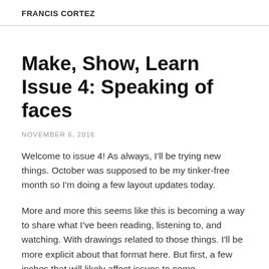FRANCIS CORTEZ
Make, Show, Learn Issue 4: Speaking of faces
NOVEMBER 6, 2016
Welcome to issue 4! As always, I'll be trying new things. October was supposed to be my tinker-free month so I'm doing a few layout updates today.
More and more this seems like this is becoming a way to share what I've been reading, listening to, and watching. With drawings related to those things. I'll be more explicit about that format here. But first, a few inches that will likely affect issues to come.